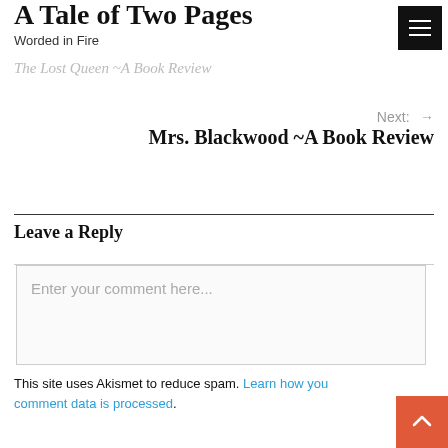A Tale of Two Pages — Worded in Fire
The Lost Queen ~A Book Review
Next: → Mrs. Blackwood ~A Book Review
Leave a Reply
Enter your comment here...
This site uses Akismet to reduce spam. Learn how your comment data is processed.